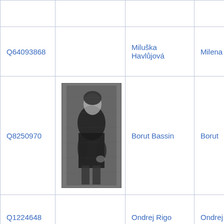|  |  |  |  |
| Q64093868 |  | Miluška Havlůjová | Milena |
| Q8250970 | [photo] | Borut Bassin | Borut |
| Q1224648 |  | Ondrej Rigo | Ondrej |